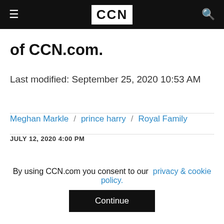CCN
of CCN.com.
Last modified: September 25, 2020 10:53 AM
Meghan Markle / prince harry / Royal Family
JULY 12, 2020 4:00 PM
[Figure (other): Partially visible article image with blue button element]
By using CCN.com you consent to our privacy & cookie policy.
Continue